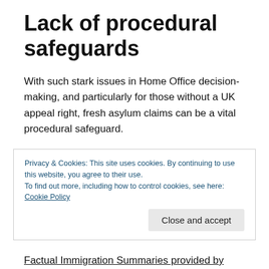Lack of procedural safeguards
With such stark issues in Home Office decision-making, and particularly for those without a UK appeal right, fresh asylum claims can be a vital procedural safeguard.
Many people facing removal by charter flight, however, report major problems in having
Privacy & Cookies: This site uses cookies. By continuing to use this website, you agree to their use.
To find out more, including how to control cookies, see here: Cookie Policy
Factual Immigration Summaries provided by